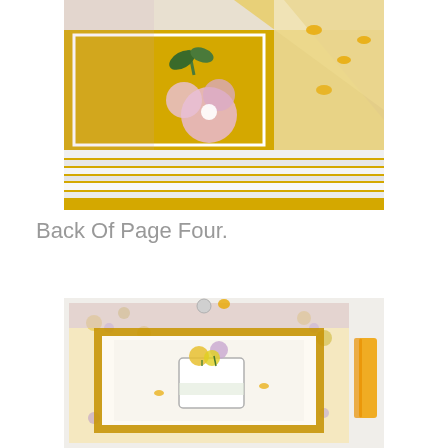[Figure (photo): Close-up photograph of a handmade scrapbook or mini album showing yellow/gold decorated pages with pink flowers, green leaves, and bee-patterned paper, viewed from the spine side showing multiple layered pages.]
Back Of Page Four.
[Figure (photo): Photograph of a handmade scrapbook page featuring floral patterned paper with yellow and lavender flowers, a gingham/plaid border, and a central panel with a mason jar of flowers illustration, with orange scissors visible on the right edge.]